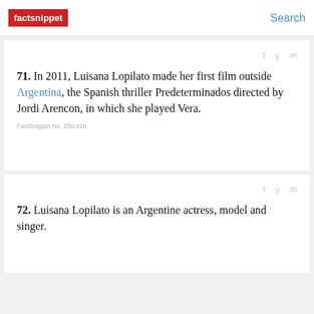factsnippet | Search
71. In 2011, Luisana Lopilato made her first film outside Argentina, the Spanish thriller Predeterminados directed by Jordi Arencon, in which she played Vera.
FactSnippet No. 250,916
72. Luisana Lopilato is an Argentine actress, model and singer.